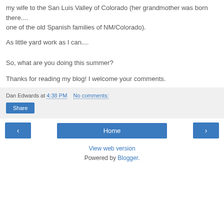my wife to the San Luis Valley of Colorado (her grandmother was born there.... one of the old Spanish families of NM/Colorado).
As little yard work as I can....
So, what are you doing this summer?
Thanks for reading my blog! I welcome your comments.
Dan Edwards at 4:38 PM   No comments:
Share
Home
View web version
Powered by Blogger.